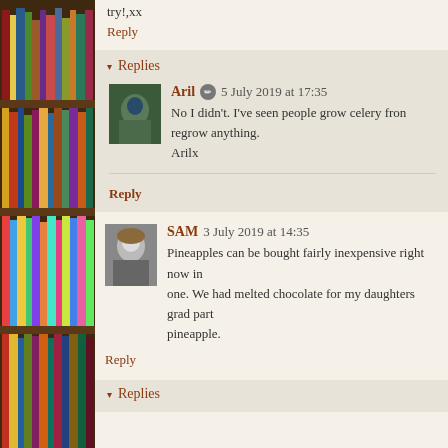try!,xx
Reply
Replies
Aril  5 July 2019 at 17:35
No I didn't. I've seen people grow celery from regrow anything.
Arilx
Reply
SAM  3 July 2019 at 14:35
Pineapples can be bought fairly inexpensive right now in one. We had melted chocolate for my daughters grad part pineapple.
Reply
Replies